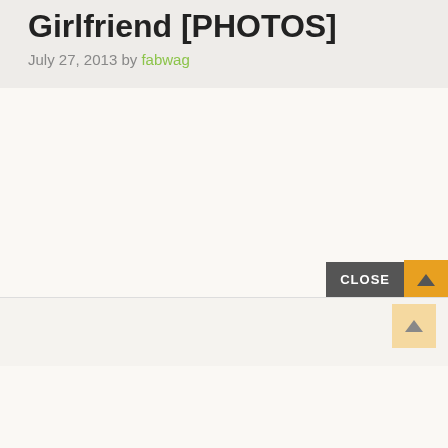Girlfriend [PHOTOS]
July 27, 2013 by fabwag
[Figure (screenshot): White/cream blank content area below the article header]
[Figure (screenshot): Close button UI element with dark gray CLOSE label and orange arrow button, plus a scroll-to-top button below]